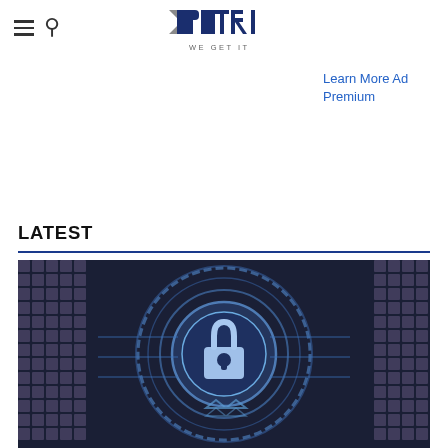PETRI WE GET IT
Learn More Ad Premium
LATEST
[Figure (illustration): Cybersecurity themed image with a blue padlock/lock icon centered in concentric blue glowing circles, surrounded by a dark grid/pixel pattern background representing digital security.]